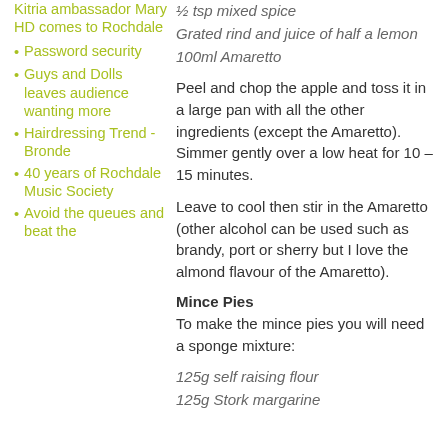Kitria ambassador Mary HD comes to Rochdale
Password security
Guys and Dolls leaves audience wanting more
Hairdressing Trend - Bronde
40 years of Rochdale Music Society
Avoid the queues and beat the
½ tsp mixed spice
Grated rind and juice of half a lemon
100ml Amaretto
Peel and chop the apple and toss it in a large pan with all the other ingredients (except the Amaretto). Simmer gently over a low heat for 10 – 15 minutes.
Leave to cool then stir in the Amaretto (other alcohol can be used such as brandy, port or sherry but I love the almond flavour of the Amaretto).
Mince Pies
To make the mince pies you will need a sponge mixture:
125g self raising flour
125g Stork margarine